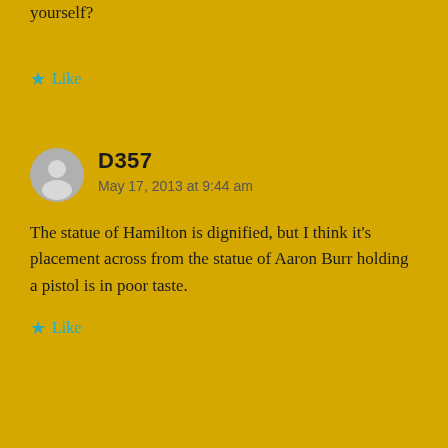yourself?
★ Like
D357
May 17, 2013 at 9:44 am
The statue of Hamilton is dignified, but I think it's placement across from the statue of Aaron Burr holding a pistol is in poor taste.
★ Like